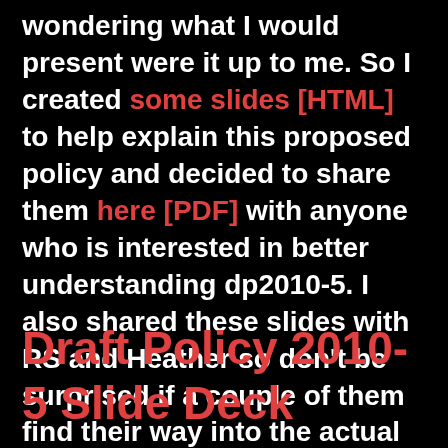wondering what I would present were it up to me. So I created some slides [HTML] to help explain this proposed policy and decided to share them here [PDF] with anyone who is interested in better understanding dp2010-5. I also shared these slides with RS and Heather so don't be surprised if a couple of them find their way into the actual presentation in Toronto on Monday.
Draft Policy 2010-5 Slide Deck